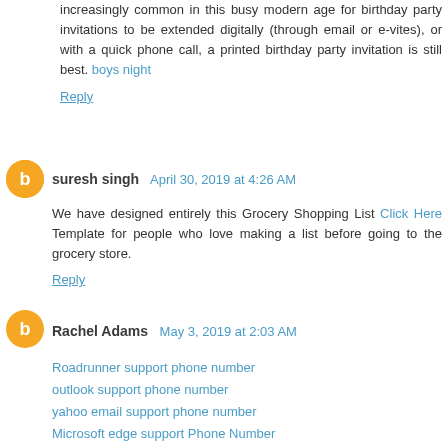increasingly common in this busy modern age for birthday party invitations to be extended digitally (through email or e-vites), or with a quick phone call, a printed birthday party invitation is still best. boys night
Reply
suresh singh  April 30, 2019 at 4:26 AM
We have designed entirely this Grocery Shopping List Click Here Template for people who love making a list before going to the grocery store.
Reply
Rachel Adams  May 3, 2019 at 2:03 AM
Roadrunner support phone number
outlook support phone number
yahoo email support phone number
Microsoft edge support Phone Number
Mozilla firefox support phone number
comcast customer support number